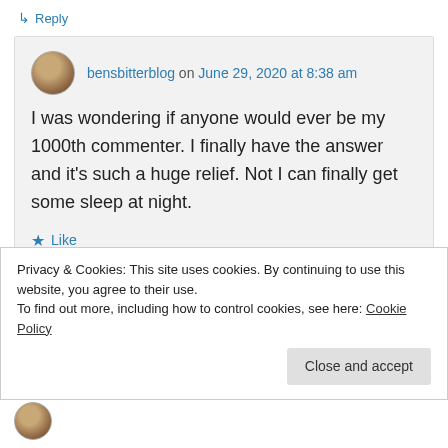↳ Reply
bensbitterblog on June 29, 2020 at 8:38 am
I was wondering if anyone would ever be my 1000th commenter. I finally have the answer and it's such a huge relief. Not I can finally get some sleep at night.
★ Like
↳ Reply
Privacy & Cookies: This site uses cookies. By continuing to use this website, you agree to their use.
To find out more, including how to control cookies, see here: Cookie Policy
Close and accept